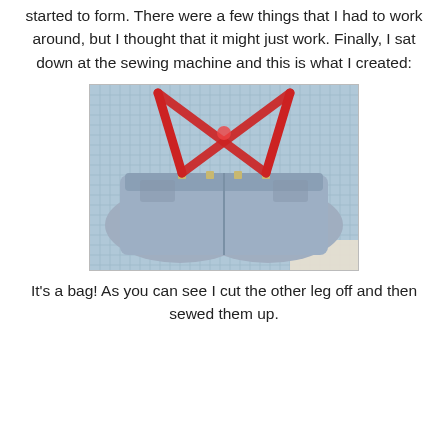started to form. There were a few things that I had to work around, but I thought that it might just work. Finally, I sat down at the sewing machine and this is what I created:
[Figure (photo): A pair of jeans with both legs cut off, laid flat on a blue cutting mat. Red suspenders are attached to the waistband forming an X shape, serving as bag handles. The jeans have been converted into a bag.]
It's a bag! As you can see I cut the other leg off and then sewed them up.